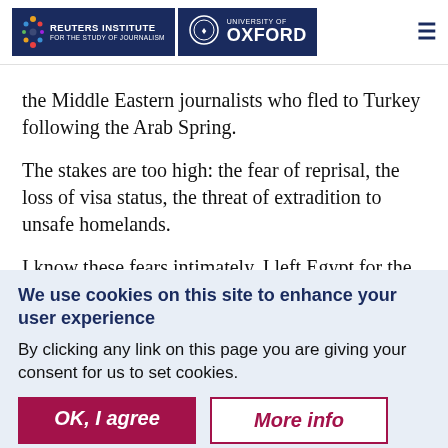Reuters Institute for the Study of Journalism | University of Oxford
the Middle Eastern journalists who fled to Turkey following the Arab Spring.
The stakes are too high: the fear of reprisal, the loss of visa status, the threat of extradition to unsafe homelands.
I know these fears intimately. I left Egypt for the
We use cookies on this site to enhance your user experience
By clicking any link on this page you are giving your consent for us to set cookies.
OK, I agree | More info